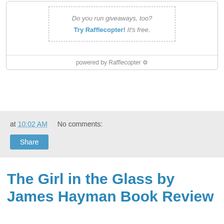[Figure (other): Rafflecopter widget box with dashed border containing text 'Do you run giveaways, too? Try Rafflecopter! It's free.' and 'powered by Rafflecopter' footer bar]
at 10:02 AM   No comments:
Share
The Girl in the Glass by James Hayman Book Review
[Figure (photo): Book cover image partially visible at bottom of page, dark stormy sky with text 'WITNESS' visible at bottom right]